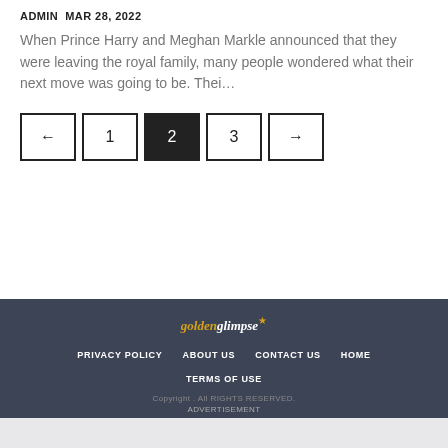ADMIN  MAR 28, 2022
When Prince Harry and Meghan Markle announced that they were leaving the royal family, many people wondered what their next move was going to be. Thei…
← 1 2 3 →
golden glimpse★ | PRIVACY POLICY | ABOUT US | CONTACT US | HOME | TERMS OF USE | Copyright . All RIGHTS RESERVED. | ADVERTISEMENT